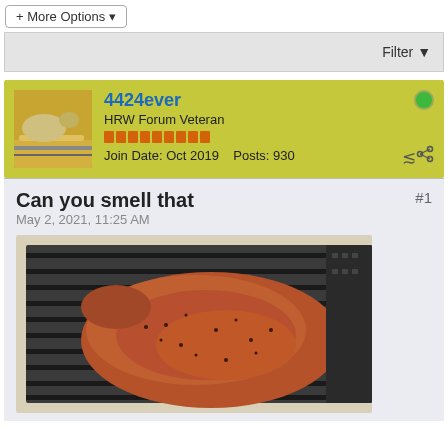+ More Options
Filter
4424ever
HRW Forum Veteran
Join Date: Oct 2019   Posts: 930
Can you smell that
May 2, 2021, 11:25 AM
[Figure (photo): A large seasoned raw steak resting on grill grates, viewed from above at an angle.]